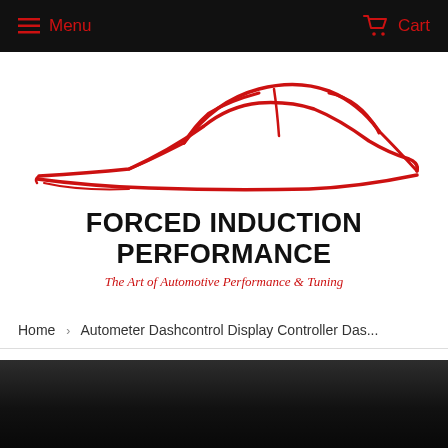Menu  Cart
[Figure (logo): Forced Induction Performance logo with red sports car silhouette outline, bold black text 'FORCED INDUCTION PERFORMANCE' and red italic tagline 'The Art of Automotive Performance & Tuning']
Home › Autometer Dashcontrol Display Controller Das...
[Figure (photo): Dark/black background product image area, partially visible]